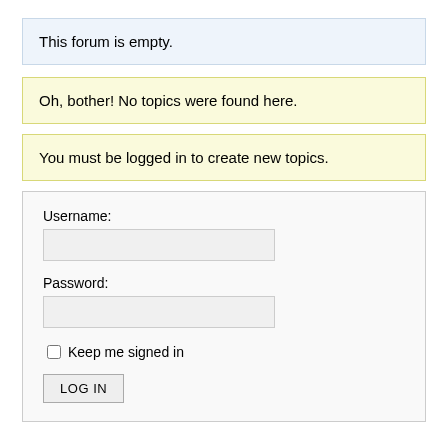This forum is empty.
Oh, bother! No topics were found here.
You must be logged in to create new topics.
Username:
Password:
Keep me signed in
LOG IN